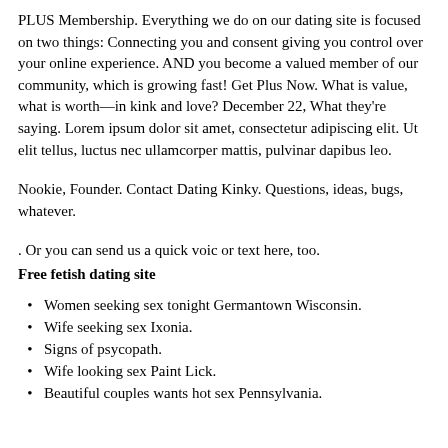PLUS Membership. Everything we do on our dating site is focused on two things: Connecting you and consent giving you control over your online experience. AND you become a valued member of our community, which is growing fast! Get Plus Now. What is value, what is worth—in kink and love? December 22, What they're saying. Lorem ipsum dolor sit amet, consectetur adipiscing elit. Ut elit tellus, luctus nec ullamcorper mattis, pulvinar dapibus leo.
Nookie, Founder. Contact Dating Kinky. Questions, ideas, bugs, whatever.
. Or you can send us a quick voic or text here, too.
Free fetish dating site
Women seeking sex tonight Germantown Wisconsin.
Wife seeking sex Ixonia.
Signs of psycopath.
Wife looking sex Paint Lick.
Beautiful couples wants hot sex Pennsylvania.